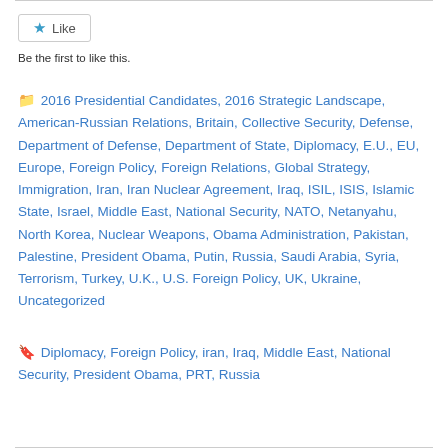Like
Be the first to like this.
2016 Presidential Candidates, 2016 Strategic Landscape, American-Russian Relations, Britain, Collective Security, Defense, Department of Defense, Department of State, Diplomacy, E.U., EU, Europe, Foreign Policy, Foreign Relations, Global Strategy, Immigration, Iran, Iran Nuclear Agreement, Iraq, ISIL, ISIS, Islamic State, Israel, Middle East, National Security, NATO, Netanyahu, North Korea, Nuclear Weapons, Obama Administration, Pakistan, Palestine, President Obama, Putin, Russia, Saudi Arabia, Syria, Terrorism, Turkey, U.K., U.S. Foreign Policy, UK, Ukraine, Uncategorized
Diplomacy, Foreign Policy, iran, Iraq, Middle East, National Security, President Obama, PRT, Russia